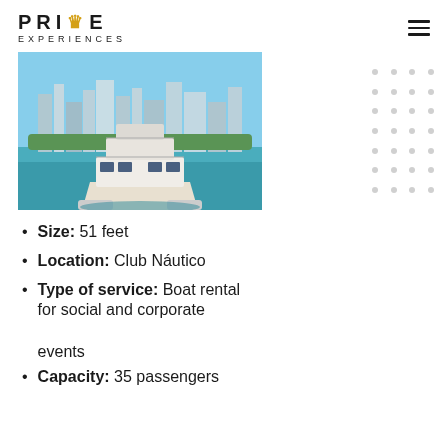[Figure (logo): PRIME EXPERIENCES logo with crown icon in gold between PRI and E]
[Figure (photo): Front view of a white catamaran yacht on turquoise water with city skyline in background]
Size: 51 feet
Location: Club Náutico
Type of service: Boat rental for social and corporate events
Capacity: 35 passengers